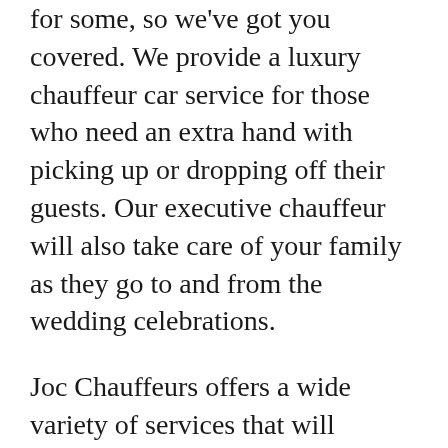…know that weddings can be stressful for some, so we've got you covered. We provide a luxury chauffeur car service for those who need an extra hand with picking up or dropping off their guests. Our executive chauffeur will also take care of your family as they go to and from the wedding celebrations.
Joc Chauffeurs offers a wide variety of services that will accommodate any size event, including weddings. If you need help getting around town or if you're looking for some direction on how to plan your day, our experienced staff is happy to provide a little guidance at no